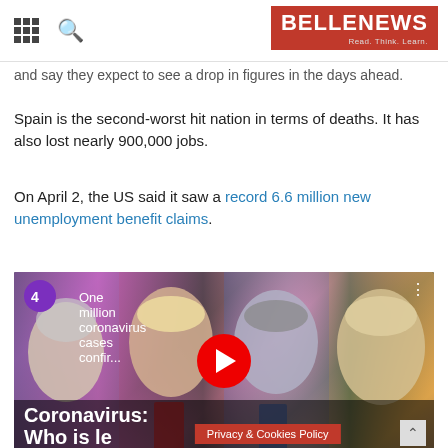BELLENEWS - Read. Think. Learn.
and say they expect to see a drop in figures in the days ahead.
Spain is the second-worst hit nation in terms of deaths. It has also lost nearly 900,000 jobs.
On April 2, the US said it saw a record 6.6 million new unemployment benefit claims.
[Figure (screenshot): YouTube video thumbnail showing four world leaders (Angela Merkel, Donald Trump, Vladimir Putin, Boris Johnson) with Channel 4 badge and title 'One million coronavirus cases confir...' and play button. Video title overlay reads 'Coronavirus: Who is le...s?' A Privacy & Cookies Policy bar is visible at the bottom.]